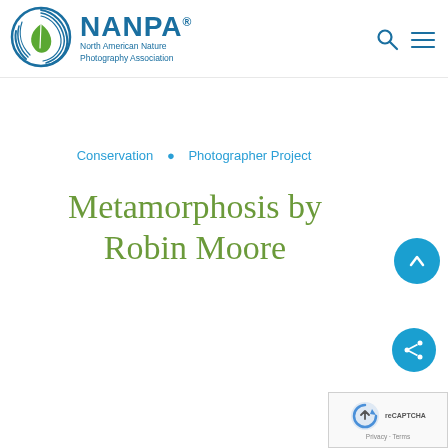NANPA® North American Nature Photography Association
Conservation   Photographer Project
Metamorphosis by Robin Moore
[Figure (logo): NANPA circular logo with blue swirl and green leaf]
[Figure (other): reCAPTCHA badge with Privacy · Terms]